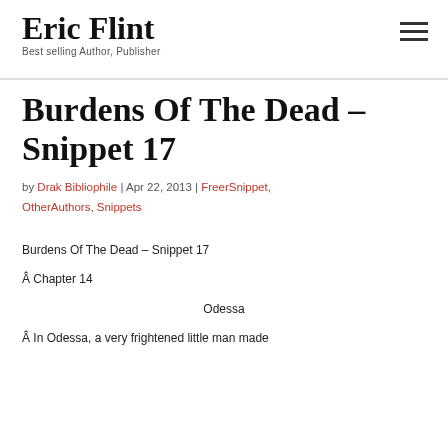Eric Flint
Best selling Author, Publisher
Burdens Of The Dead – Snippet 17
by Drak Bibliophile | Apr 22, 2013 | FreerSnippet, OtherAuthors, Snippets
Burdens Of The Dead – Snippet 17
Â Chapter 14
Odessa
Â In Odessa, a very frightened little man made